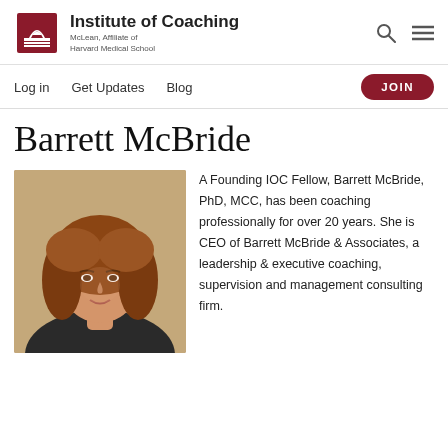Institute of Coaching — McLean, Affiliate of Harvard Medical School
Barrett McBride
[Figure (photo): Portrait photo of Barrett McBride, a woman with curly auburn hair, smiling, wearing a dark jacket]
A Founding IOC Fellow, Barrett McBride, PhD, MCC, has been coaching professionally for over 20 years. She is CEO of Barrett McBride & Associates, a leadership & executive coaching, supervision and management consulting firm.